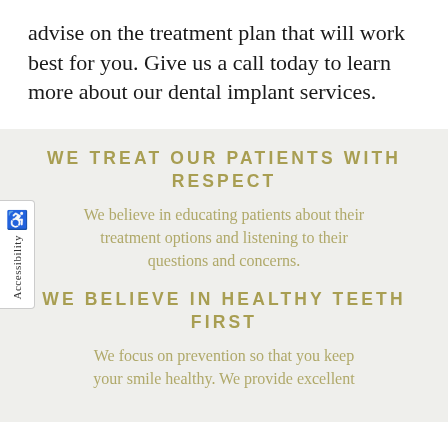advise on the treatment plan that will work best for you. Give us a call today to learn more about our dental implant services.
WE TREAT OUR PATIENTS WITH RESPECT
We believe in educating patients about their treatment options and listening to their questions and concerns.
WE BELIEVE IN HEALTHY TEETH FIRST
We focus on prevention so that you keep your smile healthy. We provide excellent